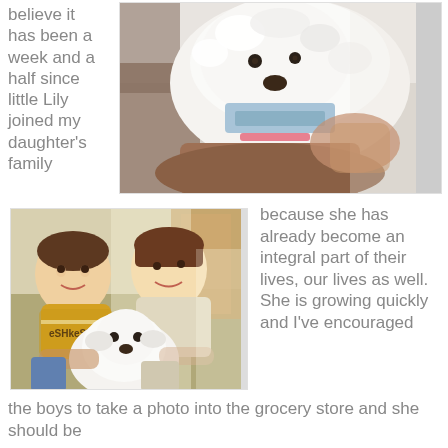believe it has been a week and a half since little Lily joined my daughter's family
[Figure (photo): Close-up photo of a small white fluffy dog (Lily) being held, wearing a blue bandana or scarf, with a person's hand visible]
[Figure (photo): Two young boys smiling and sitting on the floor, holding a small white fluffy puppy (Lily). The boy on the left wears a yellow Oshkosh shirt.]
because she has already become an integral part of their lives, our lives as well. She is growing quickly and I've encouraged
the boys to take a photo into the grocery store and she should be